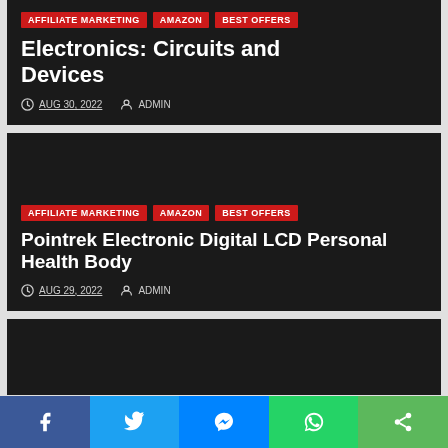[Figure (screenshot): Dark card with tags AFFILIATE MARKETING, AMAZON, BEST OFFERS and title Electronics: Circuits and Devices with date AUG 30, 2022 and ADMIN]
AFFILIATE MARKETING
AMAZON
BEST OFFERS
Electronics: Circuits and Devices
AUG 30, 2022   ADMIN
[Figure (screenshot): Dark card with tags AFFILIATE MARKETING, AMAZON, BEST OFFERS and title Pointrek Electronic Digital LCD Personal Health Body with date AUG 29, 2022 and ADMIN]
AFFILIATE MARKETING
AMAZON
BEST OFFERS
Pointrek Electronic Digital LCD Personal Health Body
AUG 29, 2022   ADMIN
Facebook Twitter Messenger WhatsApp Share